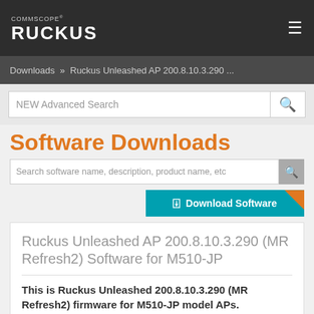COMMSCOPE RUCKUS
Downloads » Ruckus Unleashed AP 200.8.10.3.290 ...
NEW Advanced Search
Software Downloads
Search software name, description, product name, etc
Download Software
Ruckus Unleashed AP 200.8.10.3.290 (MR Refresh2) Software for M510-JP
This is Ruckus Unleashed 200.8.10.3.290 (MR Refresh2) firmware for M510-JP model APs.